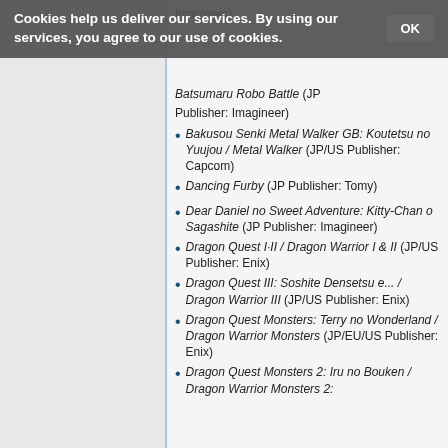Imagineer)
Cookies help us deliver our services. By using our services, you agree to our use of cookies. OK
Batsumaru Robo Battle (JP Publisher: Imagineer)
Bakusou Senki Metal Walker GB: Koutetsu no Yuujou / Metal Walker (JP/US Publisher: Capcom)
Dancing Furby (JP Publisher: Tomy)
Dear Daniel no Sweet Adventure: Kitty-Chan o Sagashite (JP Publisher: Imagineer)
Dragon Quest I·II / Dragon Warrior I & II (JP/US Publisher: Enix)
Dragon Quest III: Soshite Densetsu e... / Dragon Warrior III (JP/US Publisher: Enix)
Dragon Quest Monsters: Terry no Wonderland / Dragon Warrior Monsters (JP/EU/US Publisher: Enix)
Dragon Quest Monsters 2: Iru no Bouken / Dragon Warrior Monsters 2: